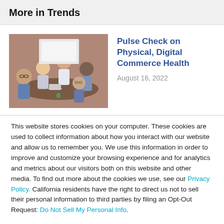More in Trends
[Figure (photo): Group of people in a meeting around a table, discussing with laptops and papers.]
Pulse Check on Physical, Digital Commerce Health
August 16, 2022
This website stores cookies on your computer. These cookies are used to collect information about how you interact with our website and allow us to remember you. We use this information in order to improve and customize your browsing experience and for analytics and metrics about our visitors both on this website and other media. To find out more about the cookies we use, see our Privacy Policy. California residents have the right to direct us not to sell their personal information to third parties by filing an Opt-Out Request: Do Not Sell My Personal Info.
Accept